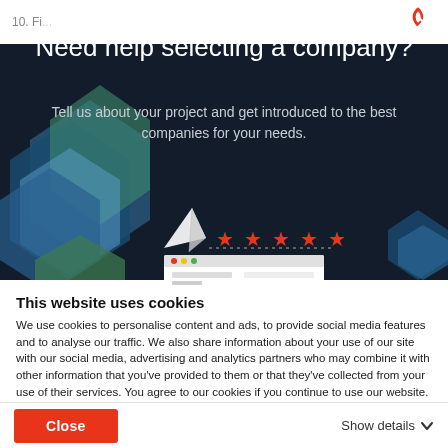[Figure (screenshot): Background website with partial header bar showing '10. Fi...' text and a logo partially visible, overlaid by a dark modal dialog]
Need help selecting a company?
Tell us about your project and get introduced to the best companies for your needs.
[Figure (illustration): Illustration showing a paper airplane, five red star ratings, and a browser/review card graphic against the dark modal background]
This website uses cookies
We use cookies to personalise content and ads, to provide social media features and to analyse our traffic. We also share information about your use of our site with our social media, advertising and analytics partners who may combine it with other information that you've provided to them or that they've collected from your use of their services. You agree to our cookies if you continue to use our website.
Close
Show details